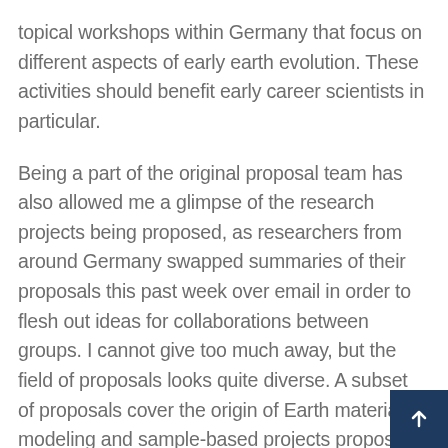topical workshops within Germany that focus on different aspects of early earth evolution. These activities should benefit early career scientists in particular.
Being a part of the original proposal team has also allowed me a glimpse of the research projects being proposed, as researchers from around Germany swapped summaries of their proposals this past week over email in order to flesh out ideas for collaborations between groups. I cannot give too much away, but the field of proposals looks quite diverse. A subset of proposals cover the origin of Earth materials, modeling and sample-based projects propose